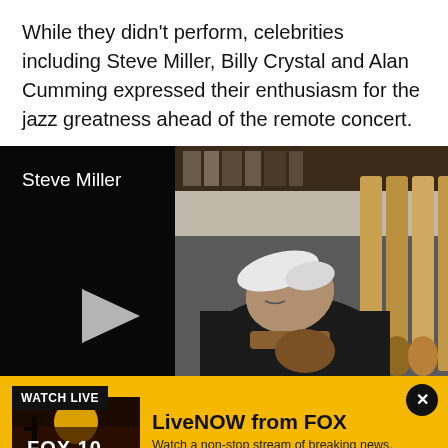While they didn't perform, celebrities including Steve Miller, Billy Crystal and Alan Cumming expressed their enthusiasm for the jazz greatness ahead of the remote concert.
[Figure (screenshot): Embedded video player with black background showing a label 'Steve Miller' in white text at top left, a play button on the left side, and a photo of an older man with white hair bending over a guitar, with guitars and shelves visible in the background.]
[Figure (infographic): Yellow banner advertisement for LiveNOW from FOX. Contains 'WATCH LIVE' black badge at top left, a close X button at top right, a FOX 10 Phoenix logo thumbnail on the left with a red play button, and text 'LiveNOW from FOX' in bold followed by 'Watch a non-stop stream of breaking news, live events and stories across the nation.']